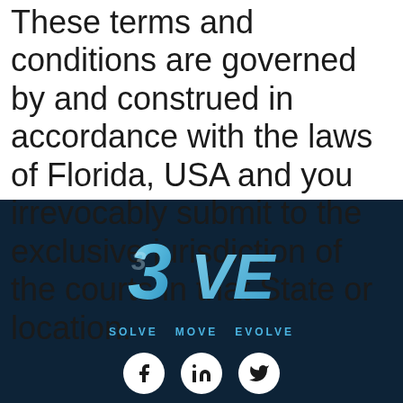These terms and conditions are governed by and construed in accordance with the laws of Florida, USA and you irrevocably submit to the exclusive jurisdiction of the courts in that State or location.
[Figure (logo): 3VE logo with stylized blue 3D text reading '3VE' and tagline 'SOLVE MOVE EVOLVE' on dark navy background, with Facebook, LinkedIn, and Twitter social media icons below]